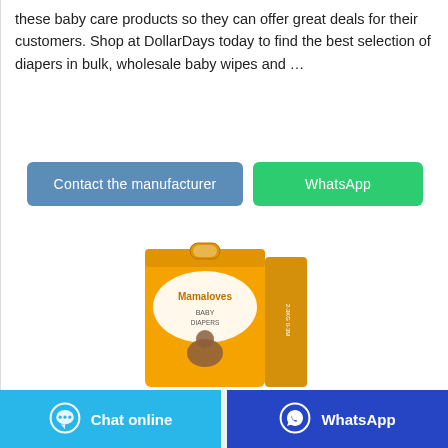these baby care products so they can offer great deals for their customers. Shop at DollarDays today to find the best selection of diapers in bulk, wholesale baby wipes and …
Contact the manufacturer
WhatsApp
[Figure (photo): Yellow Mamaloves baby diapers product box showing a smiling baby]
Chat online
WhatsApp